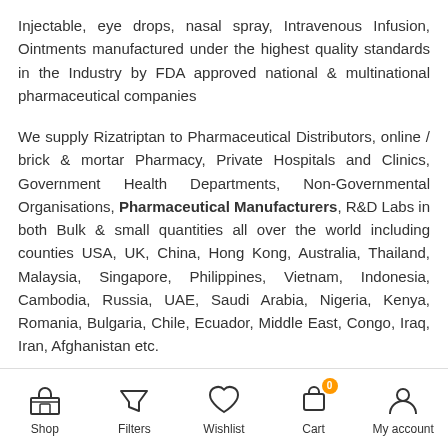Injectable, eye drops, nasal spray, Intravenous Infusion, Ointments manufactured under the highest quality standards in the Industry by FDA approved national & multinational pharmaceutical companies
We supply Rizatriptan to Pharmaceutical Distributors, online / brick & mortar Pharmacy, Private Hospitals and Clinics, Government Health Departments, Non-Governmental Organisations, Pharmaceutical Manufacturers, R&D Labs in both Bulk & small quantities all over the world including counties USA, UK, China, Hong Kong, Australia, Thailand, Malaysia, Singapore, Philippines, Vietnam, Indonesia, Cambodia, Russia, UAE, Saudi Arabia, Nigeria, Kenya, Romania, Bulgaria, Chile, Ecuador, Middle East, Congo, Iraq, Iran, Afghanistan etc.
Shop | Filters | Wishlist | Cart (0) | My account